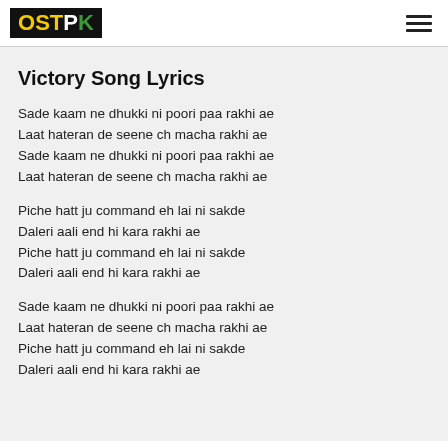OSTPK
Victory Song Lyrics
Sade kaam ne dhukki ni poori paa rakhi ae
Laat hateran de seene ch macha rakhi ae
Sade kaam ne dhukki ni poori paa rakhi ae
Laat hateran de seene ch macha rakhi ae
Piche hatt ju command eh lai ni sakde
Daleri aali end hi kara rakhi ae
Piche hatt ju command eh lai ni sakde
Daleri aali end hi kara rakhi ae
Sade kaam ne dhukki ni poori paa rakhi ae
Laat hateran de seene ch macha rakhi ae
Piche hatt ju command eh lai ni sakde
Daleri aali end hi kara rakhi ae